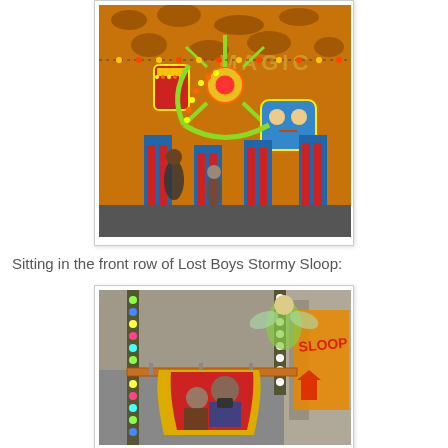[Figure (photo): Colorful fairground/amusement ride with bright lights, spinning wheel, decorative figures and blue/red fence barriers inside an indoor venue]
Sitting in the front row of Lost Boys Stormy Sloop:
[Figure (photo): Close-up photograph taken from inside a fairground ride (Lost Boys Stormy Sloop), showing decorated ride car with a person seated, ride structure with lights, and a colorful sign in background]